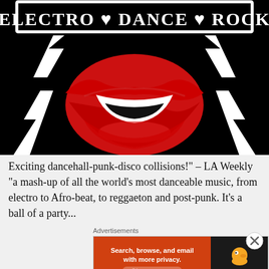[Figure (illustration): Electro Dance Rock logo: black background with bold white outlined text 'ELECTRO DANCE ROCK' at top with heart symbols, two white lightning bolts on sides, and a large red lips/mouth graphic in center]
Exciting dancehall-punk-disco collisions!" – LA Weekly “a mash-up of all the world’s most danceable music, from electro to Afro-beat, to reggaeton and post-punk. It’s a ball of a party’ to say the least..." Boot st
Advertisements
[Figure (screenshot): DuckDuckGo advertisement banner: orange left side with text 'Search, browse, and email with more privacy. All in One Free App', dark right side with DuckDuckGo duck logo and brand name]